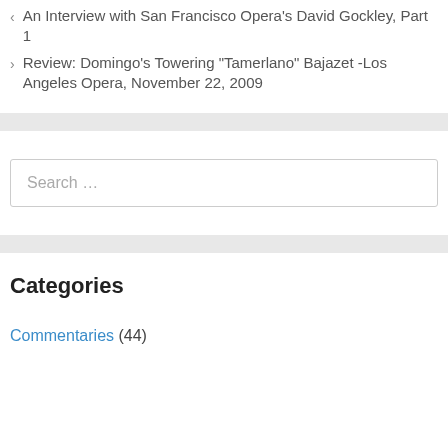< An Interview with San Francisco Opera's David Gockley, Part 1
> Review: Domingo's Towering "Tamerlano" Bajazet -Los Angeles Opera, November 22, 2009
Search …
Categories
Commentaries (44)